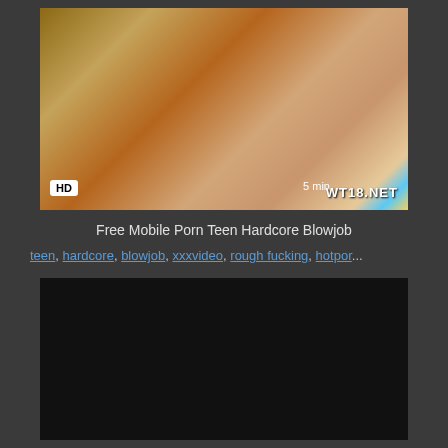[Figure (photo): Video thumbnail showing adult content with HD badge and WT18.NET watermark, 5 min duration label]
Free Mobile Porn Teen Hardcore Blowjob
teen, hardcore, blowjob, xxxvideo, rough fucking, hotpor...
[Figure (photo): Black video player area]